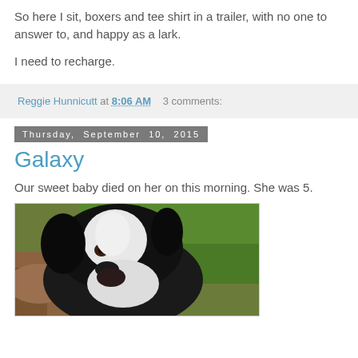So here I sit, boxers and tee shirt in a trailer, with no one to answer to, and happy as a lark.
I need to recharge.
Reggie Hunnicutt at 8:06 AM    3 comments:
Thursday, September 10, 2015
Galaxy
Our sweet baby died on her on this morning. She was 5.
[Figure (photo): Close-up photo of a black and white dog outdoors on grass and dirt ground.]